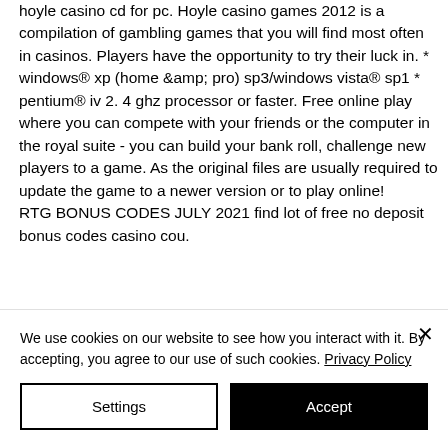hoyle casino cd for pc. Hoyle casino games 2012 is a compilation of gambling games that you will find most often in casinos. Players have the opportunity to try their luck in. * windows® xp (home &amp; pro) sp3/windows vista® sp1 * pentium® iv 2. 4 ghz processor or faster. Free online play where you can compete with your friends or the computer in the royal suite - you can build your bank roll, challenge new players to a game. As the original files are usually required to update the game to a newer version or to play online!
RTG BONUS CODES JULY 2021 find lot of free no deposit bonus codes casino cou.
We use cookies on our website to see how you interact with it. By accepting, you agree to our use of such cookies. Privacy Policy
Settings
Accept